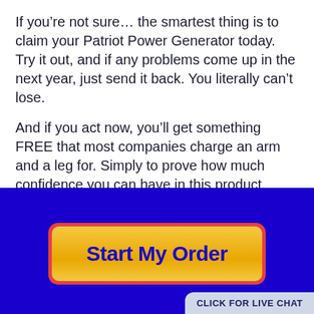If you're not sure… the smartest thing is to claim your Patriot Power Generator today. Try it out, and if any problems come up in the next year, just send it back. You literally can't lose.
And if you act now, you'll get something FREE that most companies charge an arm and a leg for. Simply to prove how much confidence you can have in this product. You'll get FREE reliable and knowledgeable technical support for the life of your Patriot Power Generator.
[Figure (other): Dark blue background section with a large yellow/gold 'Start My Order' button with red border, and a 'CLICK FOR LIVE CHAT' badge in the bottom right corner.]